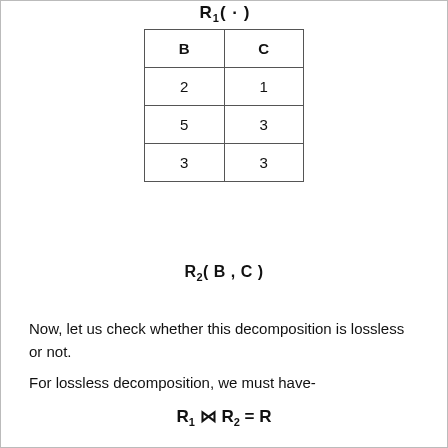| B | C |
| --- | --- |
| 2 | 1 |
| 5 | 3 |
| 3 | 3 |
R2( B , C )
Now, let us check whether this decomposition is lossless or not.
For lossless decomposition, we must have-